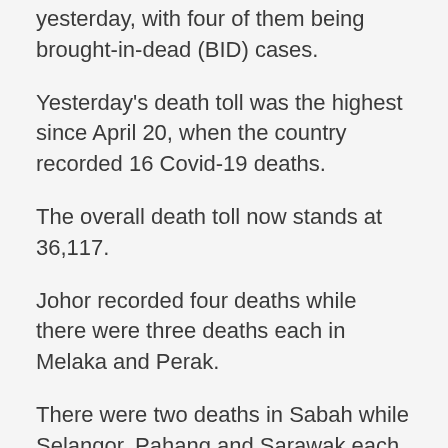yesterday, with four of them being brought-in-dead (BID) cases.
Yesterday's death toll was the highest since April 20, when the country recorded 16 Covid-19 deaths.
The overall death toll now stands at 36,117.
Johor recorded four deaths while there were three deaths each in Melaka and Perak.
There were two deaths in Sabah while Selangor, Pahang and Sarawak each recorded one death.
There were no deaths in the other states and in Kuala Lumpur, Putrajaya and Labuan.